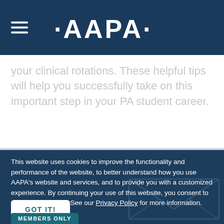AAPA
your clinical rotations. These helpful tips will help you successfully take on this important step in your PA student career.
[Figure (photo): Partial photo of clinical/medical paperwork or notebook, light blue tones]
This website uses cookies to improve the functionality and performance of the website, to better understand how you use AAPA's website and services, and to provide you with a customized experience. By continuing your use of this website, you consent to this use of cookies. See our Privacy Policy for more information.
GOT IT!
MEMBERS ONLY